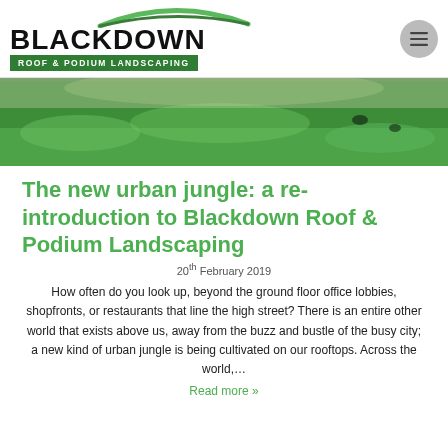[Figure (logo): Blackdown Roof & Podium Landscaping logo with green arch above text and green subtitle bar]
[Figure (photo): Aerial photo of a green rooftop lawn/grass installation]
The new urban jungle: a re-introduction to Blackdown Roof & Podium Landscaping
20th February 2019
How often do you look up, beyond the ground floor office lobbies, shopfronts, or restaurants that line the high street? There is an entire other world that exists above us, away from the buzz and bustle of the busy city; a new kind of urban jungle is being cultivated on our rooftops. Across the world,…
Read more »